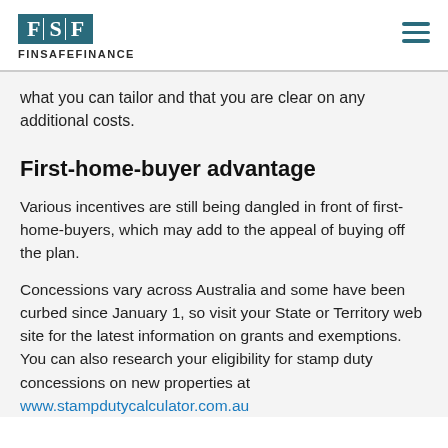FinSafeFinance
what you can tailor and that you are clear on any additional costs.
First-home-buyer advantage
Various incentives are still being dangled in front of first-home-buyers, which may add to the appeal of buying off the plan.
Concessions vary across Australia and some have been curbed since January 1, so visit your State or Territory web site for the latest information on grants and exemptions. You can also research your eligibility for stamp duty concessions on new properties at www.stampdutycalculator.com.au